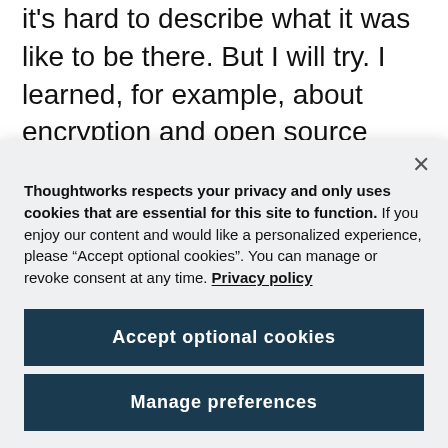it's hard to describe what it was like to be there. But I will try. I learned, for example, about encryption and open source alternatives to the popular communication tools we use like Skype, Whatsapp, Facebook, etc. One point that was driven home was that software can't protect you if your hardware is
Thoughtworks respects your privacy and only uses cookies that are essential for this site to function. If you enjoy our content and would like a personalized experience, please “Accept optional cookies”. You can manage or revoke consent at any time. Privacy policy
Accept optional cookies
Manage preferences